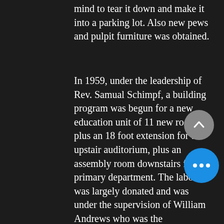mind to tear it down and make it into a parking lot. Also new pews and pulpit furniture was obtained.
In 1959, under the leadership of Rev. Samual Schimpf, a building program was begun for a new education unit of 11 new rooms, plus an 18 foot extension for the upstair auditorium, plus an assembly room downstairs for the primary department. The labor was largely donated and was under the supervision of William Andrews who was the superintendent of the new building program.
July 17th 1960 the church held a dedication service for the completion of the educational unit. The sermon was led by Dr. L.C. Davis, district superintendent of the Southwest District. Special singing was by the